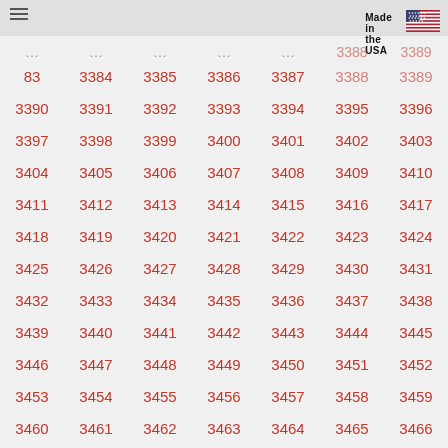[Figure (logo): Made in the USA text with US flag icon]
| 83 | 3384 | 3385 | 3386 | 3387 | 3388 | 3389 |
| 3390 | 3391 | 3392 | 3393 | 3394 | 3395 | 3396 |
| 3397 | 3398 | 3399 | 3400 | 3401 | 3402 | 3403 |
| 3404 | 3405 | 3406 | 3407 | 3408 | 3409 | 3410 |
| 3411 | 3412 | 3413 | 3414 | 3415 | 3416 | 3417 |
| 3418 | 3419 | 3420 | 3421 | 3422 | 3423 | 3424 |
| 3425 | 3426 | 3427 | 3428 | 3429 | 3430 | 3431 |
| 3432 | 3433 | 3434 | 3435 | 3436 | 3437 | 3438 |
| 3439 | 3440 | 3441 | 3442 | 3443 | 3444 | 3445 |
| 3446 | 3447 | 3448 | 3449 | 3450 | 3451 | 3452 |
| 3453 | 3454 | 3455 | 3456 | 3457 | 3458 | 3459 |
| 3460 | 3461 | 3462 | 3463 | 3464 | 3465 | 3466 |
| 3467 | 3468 | 3469 | 3470 | 3471 | 3472 | 3473 |